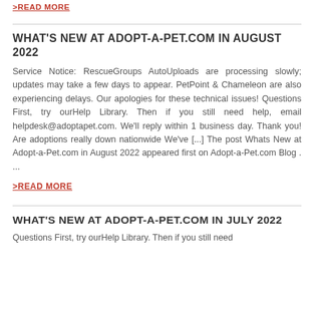>READ MORE
WHAT'S NEW AT ADOPT-A-PET.COM IN AUGUST 2022
Service Notice: RescueGroups AutoUploads are processing slowly; updates may take a few days to appear. PetPoint & Chameleon are also experiencing delays. Our apologies for these technical issues! Questions First, try ourHelp Library. Then if you still need help, email helpdesk@adoptapet.com. We'll reply within 1 business day. Thank you! Are adoptions really down nationwide We've [...] The post Whats New at Adopt-a-Pet.com in August 2022 appeared first on Adopt-a-Pet.com Blog . ...
>READ MORE
WHAT'S NEW AT ADOPT-A-PET.COM IN JULY 2022
Questions First, try ourHelp Library. Then if you still need